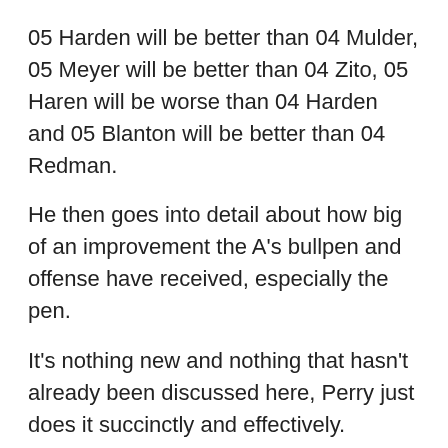05 Harden will be better than 04 Mulder, 05 Meyer will be better than 04 Zito, 05 Haren will be worse than 04 Harden and 05 Blanton will be better than 04 Redman.
He then goes into detail about how big of an improvement the A's bullpen and offense have received, especially the pen.
It's nothing new and nothing that hasn't already been discussed here, Perry just does it succinctly and effectively. Unfortunately, his conclusion isn't going to leave you with a warm fuzzy.
That's not to say I expect Oakland to be in the postseason. The AL West figures to be hotly fought, and this is not, as currently assembled, a great team. Last season, the A's posted a Pythagorean